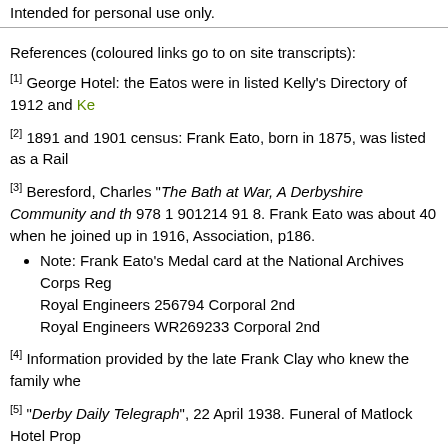Intended for personal use only.
References (coloured links go to on site transcripts):
[1] George Hotel: the Eatos were in listed Kelly's Directory of 1912 and Ke…
[2] 1891 and 1901 census: Frank Eato, born in 1875, was listed as a Rail…
[3] Beresford, Charles "The Bath at War, A Derbyshire Community and th… 978 1 901214 91 8. Frank Eato was about 40 when he joined up in 1916, Association, p186.
Note: Frank Eato's Medal card at the National Archives Corps Reg… Royal Engineers 256794 Corporal 2nd Royal Engineers WR269233 Corporal 2nd
[4] Information provided by the late Frank Clay who knew the family whe…
[5] "Derby Daily Telegraph", 22 April 1938. Funeral of Matlock Hotel Prop…
[6] Catherine worked very briefly at Masson Mills and was also "In Service… her marriage in 1936 she worked at "The Cinema Cafe", Matlock, and ma… not well.
Christine Rigley, his granddaughter, says Frank Eato died at the Boat Ho…
[7] Trade directory references to the Eatos include:
1922 Eato, Mrs Florence apartments, Orchard Mount